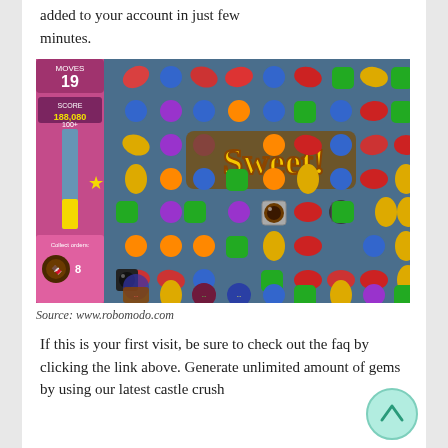added to your account in just few minutes.
[Figure (screenshot): Candy Crush game screenshot showing a colorful candy grid with a 'Sweet!' message overlay, a side panel with score 188,080 and moves 19, and pink 'Collect orders' panel.]
Source: www.robomodo.com
If this is your first visit, be sure to check out the faq by clicking the link above. Generate unlimited amount of gems by using our latest castle crush